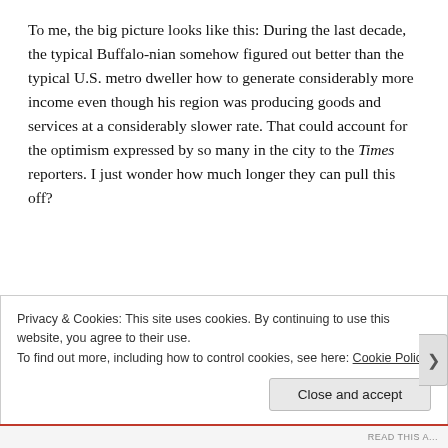To me, the big picture looks like this: During the last decade, the typical Buffalo-nian somehow figured out better than the typical U.S. metro dweller how to generate considerably more income even though his region was producing goods and services at a considerably slower rate. That could account for the optimism expressed by so many in the city to the Times reporters. I just wonder how much longer they can pull this off?
Privacy & Cookies: This site uses cookies. By continuing to use this website, you agree to their use.
To find out more, including how to control cookies, see here: Cookie Policy
Close and accept